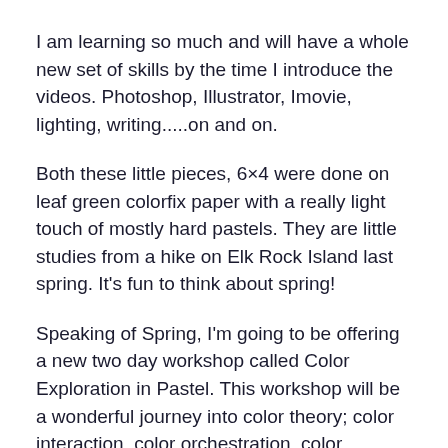I am learning so much and will have a whole new set of skills by the time I introduce the videos. Photoshop, Illustrator, Imovie, lighting, writing.....on and on.
Both these little pieces, 6×4 were done on leaf green colorfix paper with a really light touch of mostly hard pastels. They are little studies from a hike on Elk Rock Island last spring. It's fun to think about spring!
Speaking of Spring, I'm going to be offering a new two day workshop called Color Exploration in Pastel. This workshop will be a wonderful journey into color theory; color interaction, color orchestration, color masking, color choice in pastel, color everything. It will be May 22nd & 23rd in lovely, Milwaukie, OR! I'm really excited about this new offering. As usual, it will be packed full of info, demos, individual mentoring and critiques if we have any time!! Whew!!